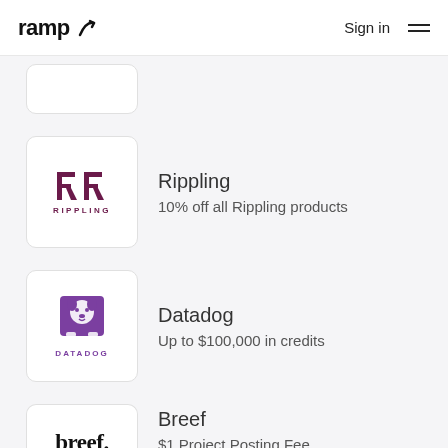ramp  Sign in
[Figure (logo): Rippling logo card — dark red stylized RR icon with RIPPLING text below]
Rippling
10% off all Rippling products
[Figure (logo): Datadog logo card — purple dog illustration with DATADOG text below]
Datadog
Up to $100,000 in credits
[Figure (logo): Breef logo card — 'breef.' wordmark in bold serif font]
Breef
$1 Project Posting Fee
(Up to $200) on Breef for...